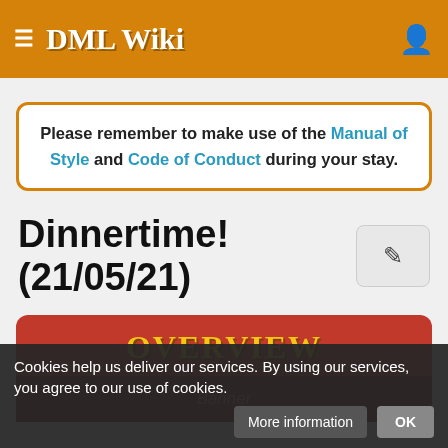DML Wiki
Please remember to make use of the Manual of Style and Code of Conduct during your stay.
Dinnertime! (21/05/21)
OVERVIEW
Cookies help us deliver our services. By using our services, you agree to our use of cookies.